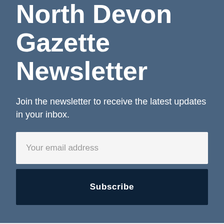North Devon Gazette Newsletter
Join the newsletter to receive the latest updates in your inbox.
Your email address
Subscribe
YOU MIGHT ALSO LIKE
Subscribe